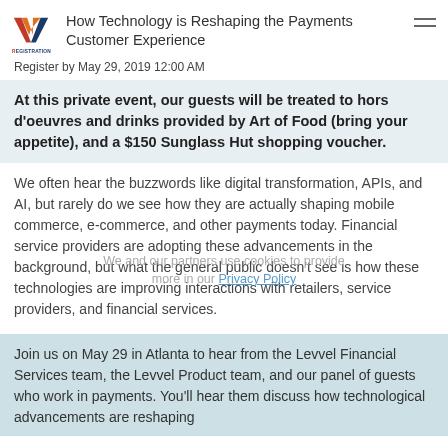How Technology is Reshaping the Payments Customer Experience
Register by May 29, 2019 12:00 AM
At this private event, our guests will be treated to hors d’oeuvres and drinks provided by Art of Food (bring your appetite), and a $150 Sunglass Hut shopping voucher.
We often hear the buzzwords like digital transformation, APIs, and AI, but rarely do we see how they are actually shaping mobile commerce, e-commerce, and other payments today. Financial service providers are adopting these advancements in the background, but what the general public doesn’t see is how these technologies are improving interactions with retailers, service providers, and financial services.
Join us on May 29 in Atlanta to hear from the Levvel Financial Services team, the Levvel Product team, and our panel of guests who work in payments. You’ll hear them discuss how technological advancements are reshaping